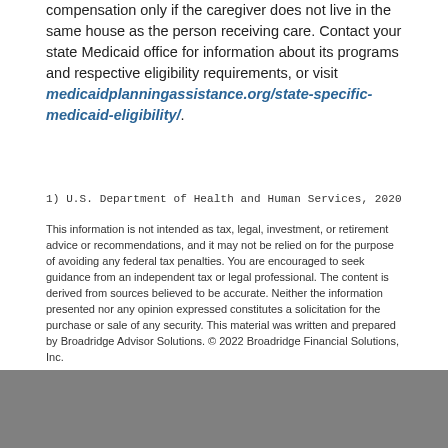compensation only if the caregiver does not live in the same house as the person receiving care. Contact your state Medicaid office for information about its programs and respective eligibility requirements, or visit medicaidplanningassistance.org/state-specific-medicaid-eligibility/.
1) U.S. Department of Health and Human Services, 2020
This information is not intended as tax, legal, investment, or retirement advice or recommendations, and it may not be relied on for the purpose of avoiding any federal tax penalties. You are encouraged to seek guidance from an independent tax or legal professional. The content is derived from sources believed to be accurate. Neither the information presented nor any opinion expressed constitutes a solicitation for the purchase or sale of any security. This material was written and prepared by Broadridge Advisor Solutions. © 2022 Broadridge Financial Solutions, Inc.